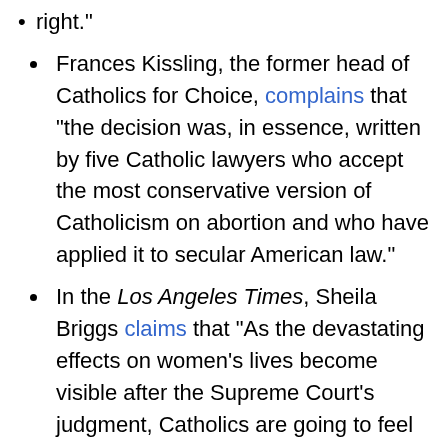right."
Frances Kissling, the former head of Catholics for Choice, complains that "the decision was, in essence, written by five Catholic lawyers who accept the most conservative version of Catholicism on abortion and who have applied it to secular American law."
In the Los Angeles Times, Sheila Briggs claims that "As the devastating effects on women's lives become visible after the Supreme Court's judgment, Catholics are going to feel increasing shame over what their church has done."